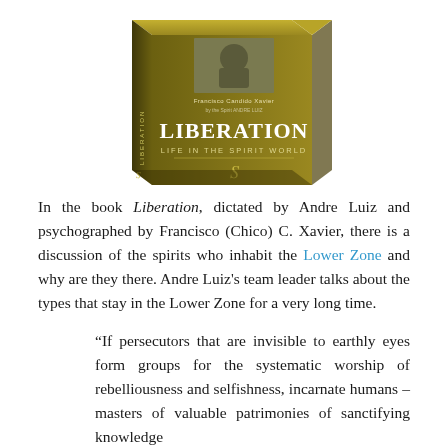[Figure (photo): Book cover of 'Liberation: Life in the Spirit World' by Francisco Candido Xavier, dictated by Andre Luiz. The book has an olive/gold colored cover with a 3D perspective showing the spine.]
In the book Liberation, dictated by Andre Luiz and psychographed by Francisco (Chico) C. Xavier, there is a discussion of the spirits who inhabit the Lower Zone and why are they there. Andre Luiz's team leader talks about the types that stay in the Lower Zone for a very long time.
“If persecutors that are invisible to earthly eyes form groups for the systematic worship of rebelliousness and selfishness, incarnate humans – masters of valuable patrimonies of sanctifying knowledge…